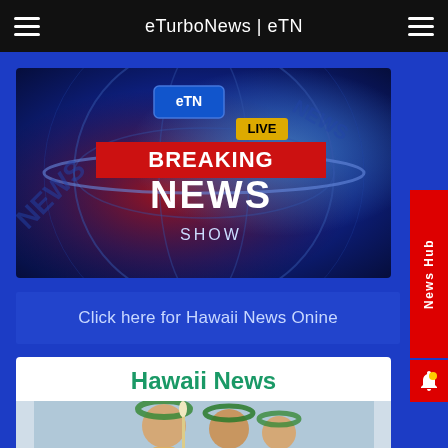eTurboNews | eTN
[Figure (screenshot): eTN Breaking News Live Show graphic with blue globe background, BREAKING NEWS text in large white letters, LIVE yellow badge, SHOW text below]
Click here for Hawaii News Onine
[Figure (screenshot): Hawaii News card with green bold title 'Hawaii News' and photo of people wearing flower lei crowns]
News Hub